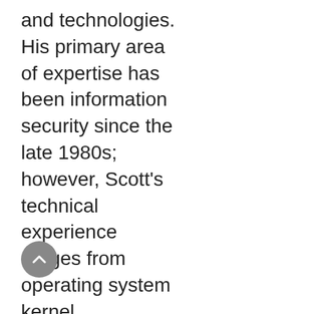and technologies. His primary area of expertise has been information security since the late 1980s; however, Scott's technical experience ranges from operating system kernel technologies, to the gamut of filesystem / database and info storage, to network engineering, to packaged commercial applications such as SCADA, B2B and CRM solutions; from on-premise to cloud deployments.